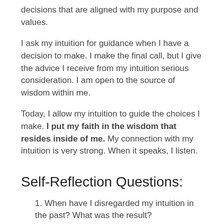decisions that are aligned with my purpose and values.
I ask my intuition for guidance when I have a decision to make. I make the final call, but I give the advice I receive from my intuition serious consideration. I am open to the source of wisdom within me.
Today, I allow my intuition to guide the choices I make. I put my faith in the wisdom that resides inside of me. My connection with my intuition is very strong. When it speaks, I listen.
Self-Reflection Questions:
1. When have I disregarded my intuition in the past? What was the result?